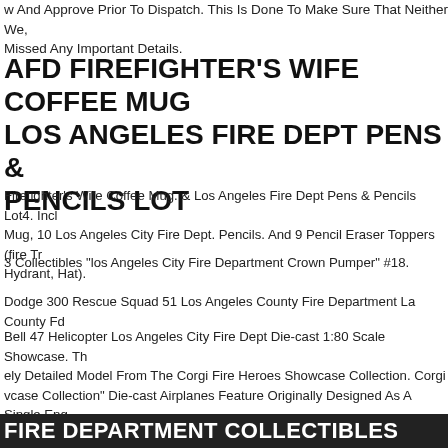w And Approve Prior To Dispatch. This Is Done To Make Sure That Neither We, Missed Any Important Details.
AFD FIREFIGHTER'S WIFE COFFEE MUG LOS ANGELES FIRE DEPT PENS & PENCILS LOT
Firefighter's Wife Coffee Mug. & Los Angeles Fire Dept Pens & Pencils Lot4. Incl Mug, 10 Los Angeles City Fire Dept. Pencils. And 9 Pencil Eraser Toppers (fire Tr Hydrant, Hat).
3 Collectibles "los Angeles City Fire Department Crown Pumper" #18.
Dodge 300 Rescue Squad 51 Los Angeles County Fire Department La County Fd
Bell 47 Helicopter Los Angeles City Fire Dept Die-cast 1:80 Scale Showcase. Th ely Detailed Model From The Corgi Fire Heroes Showcase Collection. Corgi vcase Collection" Die-cast Airplanes Feature Originally Designed As A Single Eng Helicopter For Use By Civilians, The Bell H-13 Sioux First Flew On December 8, T he Bell 47 Prototype.
FIRE DEPARTMENT COLLECTIBLES